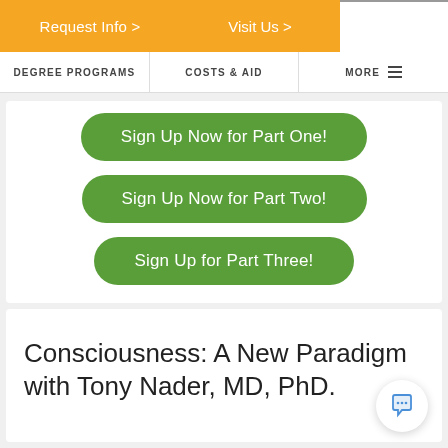Request Info > | Visit Us >
DEGREE PROGRAMS | COSTS & AID | MORE
Sign Up Now for Part One!
Sign Up Now for Part Two!
Sign Up for Part Three!
Consciousness: A New Paradigm with Tony Nader, MD, PhD.